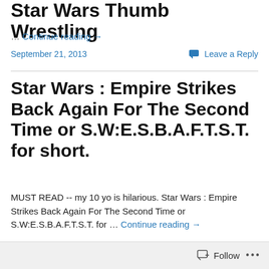Star Wars Thumb Wrestling
… Continue reading →
September 21, 2013
Leave a Reply
Star Wars : Empire Strikes Back Again For The Second Time or S.W:E.S.B.A.F.T.S.T. for short.
MUST READ -- my 10 yo is hilarious. Star Wars : Empire Strikes Back Again For The Second Time or S.W:E.S.B.A.F.T.S.T. for … Continue reading →
Follow